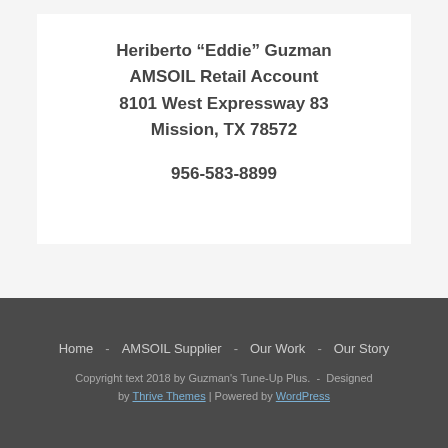Heriberto “Eddie” Guzman
AMSOIL Retail Account
8101 West Expressway 83
Mission, TX 78572

956-583-8899
Home   AMSOIL Supplier   Our Work   Our Story
Copyright text 2018 by Guzman's Tune-Up Plus.  -  Designed by Thrive Themes | Powered by WordPress